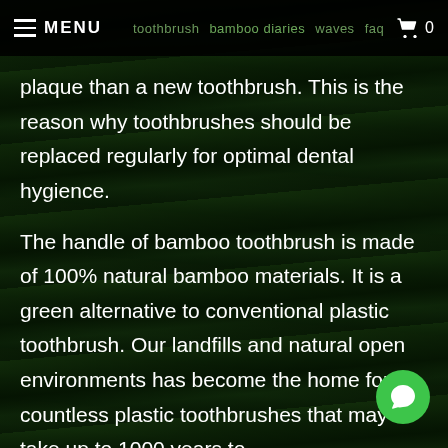MENU  bamboo diaries  🛒 0
plaque than a new toothbrush. This is the reason why toothbrushes should be replaced regularly for optimal dental hygience.
The handle of bamboo toothbrush is made of 100% natural bamboo materials. It is a green alternative to conventional plastic toothbrush. Our landfills and natural open environments has become the home for countless plastic toothbrushes that may take up to 1000 years to